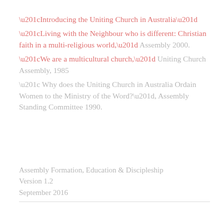“Introducing the Uniting Church in Australia”
“Living with the Neighbour who is different: Christian faith in a multi-religious world,” Assembly 2000.
“We are a multicultural church,” Uniting Church Assembly, 1985
“ Why does the Uniting Church in Australia Ordain Women to the Ministry of the Word?”, Assembly Standing Committee 1990.
Assembly Formation, Education & Discipleship
Version 1.2
September 2016